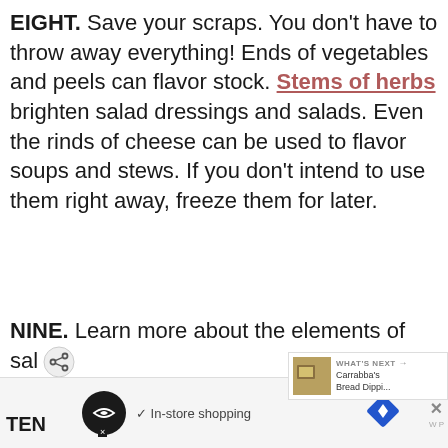EIGHT. Save your scraps. You don't have to throw away everything! Ends of vegetables and peels can flavor stock. Stems of herbs brighten salad dressings and salads. Even the rinds of cheese can be used to flavor soups and stews. If you don't intend to use them right away, freeze them for later.
NINE. Learn more about the elements of salt, heat, acid and fat- the basic cornstrones of cooking. Check the cooking basics!
[Figure (screenshot): Browser overlay showing share icon and 'WHAT'S NEXT' panel with Carrabba's Bread Dippi... thumbnail, and an ad bar at the bottom with in-store shopping icons and an X close button.]